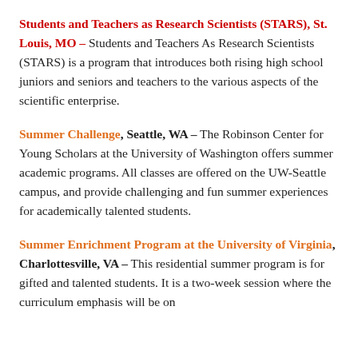Students and Teachers as Research Scientists (STARS), St. Louis, MO – Students and Teachers As Research Scientists (STARS) is a program that introduces both rising high school juniors and seniors and teachers to the various aspects of the scientific enterprise.
Summer Challenge, Seattle, WA – The Robinson Center for Young Scholars at the University of Washington offers summer academic programs. All classes are offered on the UW-Seattle campus, and provide challenging and fun summer experiences for academically talented students.
Summer Enrichment Program at the University of Virginia, Charlottesville, VA – This residential summer program is for gifted and talented students. It is a two-week session where the curriculum emphasis will be on